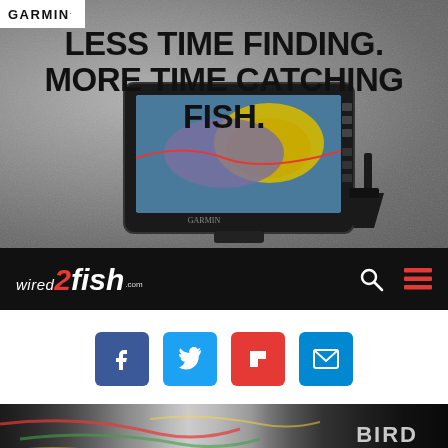[Figure (illustration): Garmin advertisement banner with a GPS fish finder device displayed on a gray concrete textured background. The Garmin logo appears in a white box in the top left. Headline text reads 'LESS TIME FINDING. MORE TIME CATCHING FISH.' A Garmin ECHOMAP chartplotter device with an antenna is shown in the center-bottom of the banner.]
[Figure (logo): Wired2Fish navigation bar with logo on black background. The logo shows 'wired' in italic white, '2' in red, 'fish' in white bold italic, and '.com' in small text. Navigation icons for search and menu appear on the right.]
[Figure (infographic): Social sharing buttons: Facebook (blue), Twitter (blue), Flipboard (red), Email (blue).]
[Figure (photo): Partial photo at bottom showing fishing electronics and cables with Humminbird branding visible on dark background.]